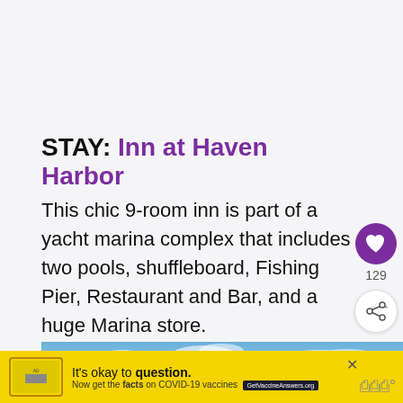STAY: Inn at Haven Harbor
This chic 9-room inn is part of a yacht marina complex that includes two pools, shuffleboard, Fishing Pier, Restaurant and Bar, and a huge Marina store.
[Figure (photo): Partial outdoor photo showing a blue sky with scattered white clouds, likely a marina or harbor setting]
[Figure (screenshot): What's Next promotional overlay with thumbnail image and text: Northern Dutchess...]
[Figure (infographic): Yellow advertisement banner: It's okay to question. Now get the facts on COVID-19 vaccines. GetVaccineAnswers.org]